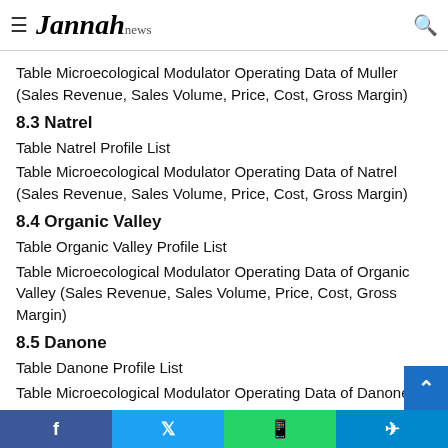Jannah news
Table Microecological Modulator Operating Data of Muller (Sales Revenue, Sales Volume, Price, Cost, Gross Margin)
8.3 Natrel
Table Natrel Profile List
Table Microecological Modulator Operating Data of Natrel (Sales Revenue, Sales Volume, Price, Cost, Gross Margin)
8.4 Organic Valley
Table Organic Valley Profile List
Table Microecological Modulator Operating Data of Organic Valley (Sales Revenue, Sales Volume, Price, Cost, Gross Margin)
8.5 Danone
Table Danone Profile List
Table Microecological Modulator Operating Data of Danone